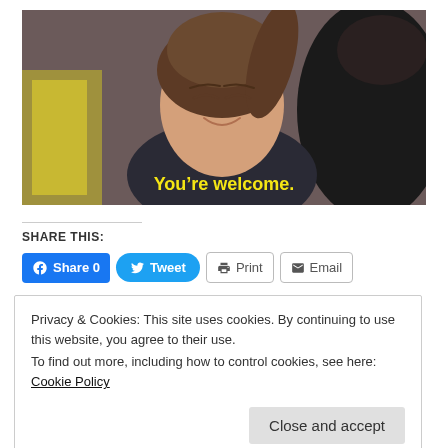[Figure (photo): A woman with brown hair smiling slightly, wearing a dark top, in the foreground. Another person with dark hair in the background. Yellow subtitle text reads: You're welcome.]
SHARE THIS:
Share 0  Tweet  Print  Email
Privacy & Cookies: This site uses cookies. By continuing to use this website, you agree to their use.
To find out more, including how to control cookies, see here: Cookie Policy
Close and accept